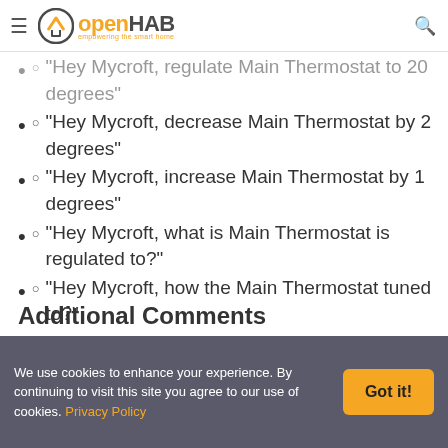openHAB — empowering the smart home
"Hey Mycroft, regulate Main Thermostat to 20 degrees"
"Hey Mycroft, decrease Main Thermostat by 2 degrees"
"Hey Mycroft, increase Main Thermostat by 1 degrees"
"Hey Mycroft, what is Main Thermostat is regulated to?"
"Hey Mycroft, how the Main Thermostat tuned to?"
Additional Comments
We use cookies to enhance your experience. By continuing to visit this site you agree to our use of cookies. Privacy Policy